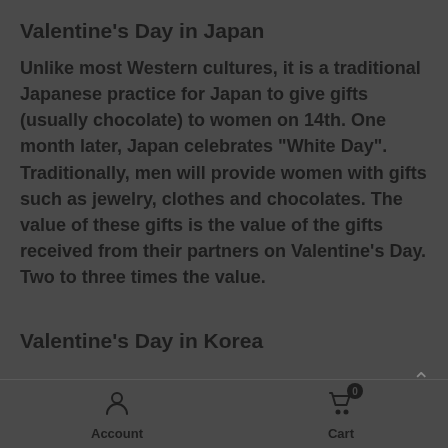Valentine's Day in Japan
Unlike most Western cultures, it is a traditional Japanese practice for Japan to give gifts (usually chocolate) to women on 14th. One month later, Japan celebrates "White Day". Traditionally, men will provide women with gifts such as jewelry, clothes and chocolates. The value of these gifts is the value of the gifts received from their partners on Valentine's Day. Two to three times the value.
Valentine's Day in Korea
Account | Cart